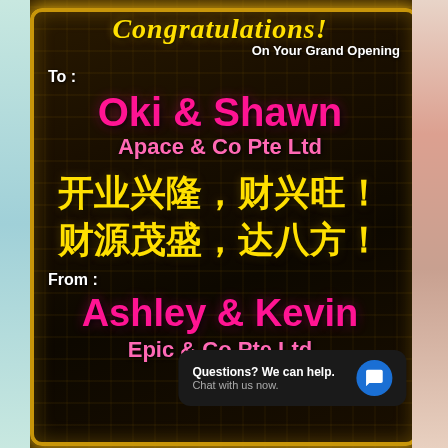Congratulations! On Your Grand Opening
To :
Oki & Shawn
Apace & Co Pte Ltd
开业兴隆，财兴旺！财源茂盛，达八方！
From :
Ashley & Kevin
Epic & Co Pte Ltd
Questions? We can help. Chat with us now.